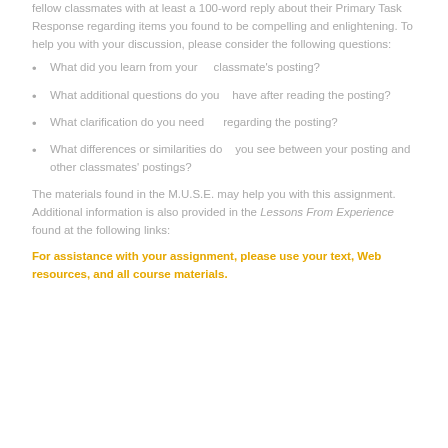fellow classmates with at least a 100-word reply about their Primary Task Response regarding items you found to be compelling and enlightening. To help you with your discussion, please consider the following questions:
What did you learn from your classmate's posting?
What additional questions do you have after reading the posting?
What clarification do you need regarding the posting?
What differences or similarities do you see between your posting and other classmates' postings?
The materials found in the M.U.S.E. may help you with this assignment. Additional information is also provided in the Lessons From Experience found at the following links:
For assistance with your assignment, please use your text, Web resources, and all course materials.